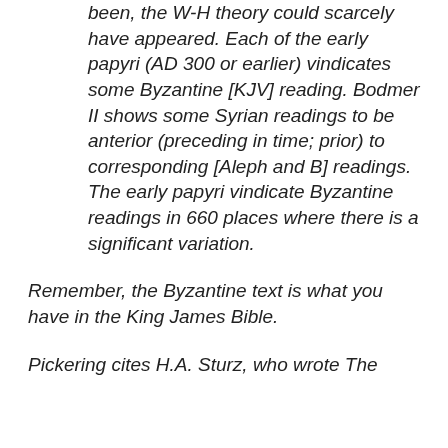been, the W-H theory could scarcely have appeared. Each of the early papyri (AD 300 or earlier) vindicates some Byzantine [KJV] reading. Bodmer II shows some Syrian readings to be anterior (preceding in time; prior) to corresponding [Aleph and B] readings. The early papyri vindicate Byzantine readings in 660 places where there is a significant variation.
Remember, the Byzantine text is what you have in the King James Bible.
Pickering cites H.A. Sturz, who wrote The